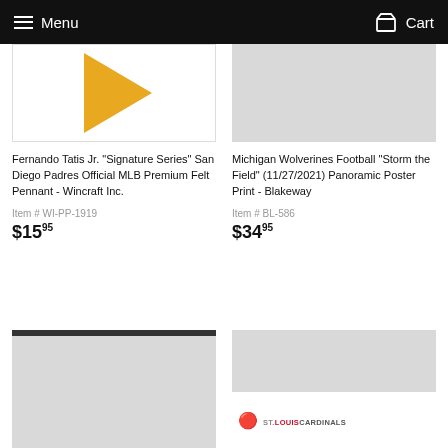Menu  Cart
[Figure (photo): Fernando Tatis Jr. pennant product image - white background with orange/gold pennant shape]
Fernando Tatis Jr. "Signature Series" San Diego Padres Official MLB Premium Felt Pennant - Wincraft Inc.
Item # WI-PP-1919
$15.95
[Figure (photo): Michigan Wolverines Football Storm the Field product image - gray placeholder]
Michigan Wolverines Football "Storm the Field" (11/27/2021) Panoramic Poster Print - Blakeway
Item # BL-586
$34.95
[Figure (photo): Bottom left product - gray placeholder image]
[Figure (photo): Bottom right product - St. Louis Cardinals item with player photo and Cardinals logo]